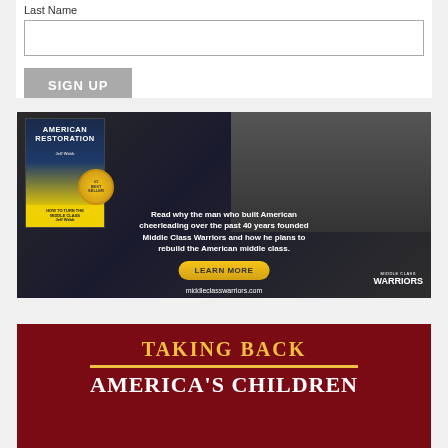Last Name
[Figure (other): Input form field for Last Name with a SIGN UP button below]
[Figure (illustration): Advertisement for 'American Restoration' book by Jeff Webb (#1 Best Seller). Text reads: 'Read why the man who built American cheerleading over the past 40 years founded Middle Class Warriors and how he plans to rebuild the American middle class.' LEARN MORE button and middleclasswarriors.com URL shown.]
[Figure (illustration): Advertisement banner with dark red background showing 'TAKING BACK' in gold letters and 'AMERICA'S CHILDREN' in white letters below.]